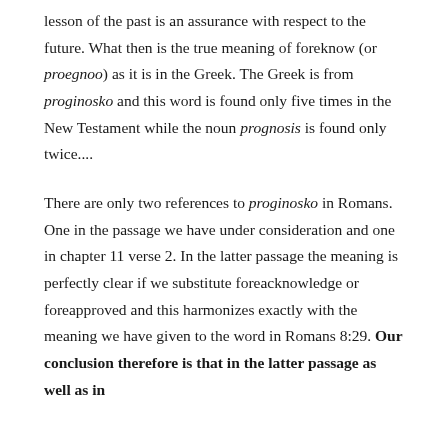lesson of the past is an assurance with respect to the future. What then is the true meaning of foreknow (or proegnoo) as it is in the Greek. The Greek is from proginosko and this word is found only five times in the New Testament while the noun prognosis is found only twice....
There are only two references to proginosko in Romans. One in the passage we have under consideration and one in chapter 11 verse 2. In the latter passage the meaning is perfectly clear if we substitute foreacknowledge or foreapproved and this harmonizes exactly with the meaning we have given to the word in Romans 8:29. Our conclusion therefore is that in the latter passage as well as in